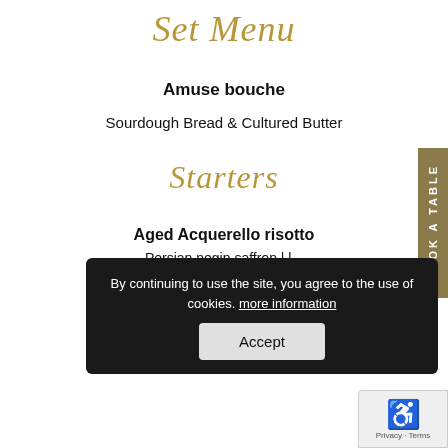Set Menu
Amuse bouche
Sourdough Bread & Cultured Butter
Starters
Aged Acquerello risotto
Persian negin saffron | ...
Or
Mussels
Thai sauce | squid ink cracker